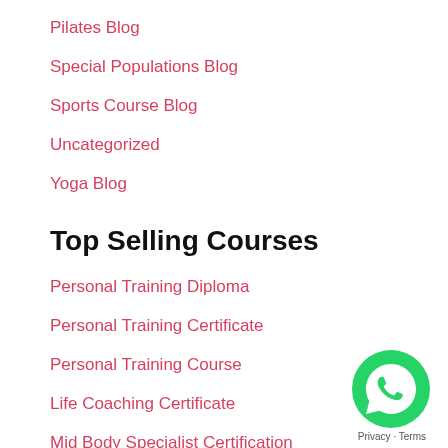Pilates Blog
Special Populations Blog
Sports Course Blog
Uncategorized
Yoga Blog
Top Selling Courses
Personal Training Diploma
Personal Training Certificate
Personal Training Course
Life Coaching Certificate
Mid Body Specialist Certification
Sports Pshychology
Condensed Pilates Certification
Yoga Certification
Sports Conditioning Coach Course
[Figure (logo): WhatsApp green circle button icon]